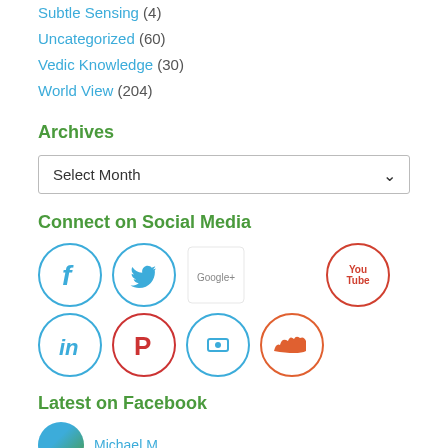Subtle Sensing (4)
Uncategorized (60)
Vedic Knowledge (30)
World View (204)
Archives
Select Month
Connect on Social Media
[Figure (infographic): Social media icons: Facebook, Twitter, Google+, YouTube in first row; LinkedIn, Pinterest, Stumbleupon, SoundCloud in second row]
Latest on Facebook
[Figure (photo): Avatar circle with Michael M... name link below Latest on Facebook section]